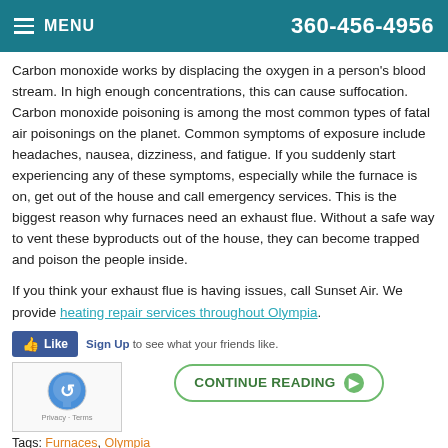MENU  360-456-4956
Carbon monoxide works by displacing the oxygen in a person's blood stream. In high enough concentrations, this can cause suffocation. Carbon monoxide poisoning is among the most common types of fatal air poisonings on the planet. Common symptoms of exposure include headaches, nausea, dizziness, and fatigue. If you suddenly start experiencing any of these symptoms, especially while the furnace is on, get out of the house and call emergency services. This is the biggest reason why furnaces need an exhaust flue. Without a safe way to vent these byproducts out of the house, they can become trapped and poison the people inside.
If you think your exhaust flue is having issues, call Sunset Air. We provide heating repair services throughout Olympia.
[Figure (other): Facebook Like button with Sign Up prompt text]
[Figure (other): Continue Reading button with green oval border and arrow]
[Figure (other): Google reCAPTCHA widget with logo and Privacy/Terms links]
Tags: Furnaces, Olympia
Posted in Uncategorized | Comments Off on Why Do Furnaces Need an Exhaust Flue?